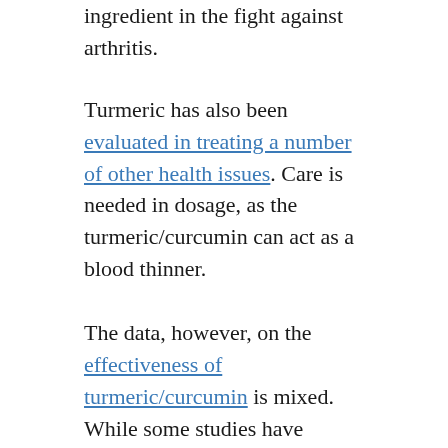But the turmeric is believed to be the main ingredient in the fight against arthritis.
Turmeric has also been evaluated in treating a number of other health issues. Care is needed in dosage, as the turmeric/curcumin can act as a blood thinner.
The data, however, on the effectiveness of turmeric/curcumin is mixed. While some studies have shown strong effects, other studies don't support those initial findings. While the data is mixed, one study showed the interesting result that it was more effective at preventing joint inflammation than prevention. Another study showed that it could help prevent cartilage inflammation.